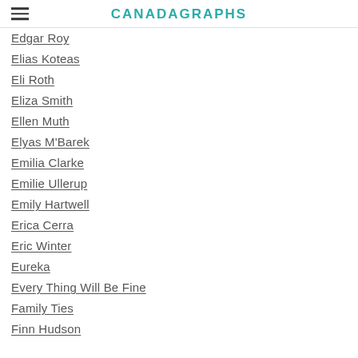CANADAGRAPHS
Edgar Roy
Elias Koteas
Eli Roth
Eliza Smith
Ellen Muth
Elyas M'Barek
Emilia Clarke
Emilie Ullerup
Emily Hartwell
Erica Cerra
Eric Winter
Eureka
Every Thing Will Be Fine
Family Ties
Finn Hudson